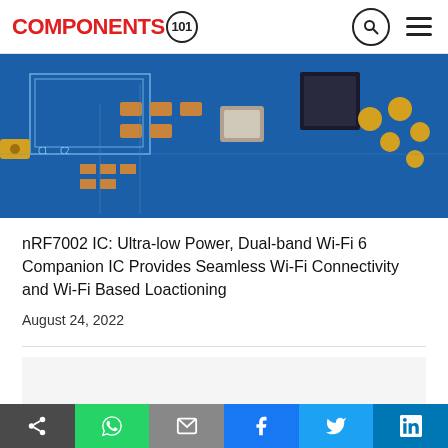COMPONENTS 101
[Figure (photo): Close-up photo of a blue PCB (printed circuit board) with various surface-mount components including capacitors, inductors, and IC chips visible.]
nRF7002 IC: Ultra-low Power, Dual-band Wi-Fi 6 Companion IC Provides Seamless Wi-Fi Connectivity and Wi-Fi Based Loactioning
August 24, 2022
FRED Pt Gen 5 600V Ultrafast Rectifiers in the TO-244 Package Offer Best in Class Conduction and Switching Losses
Share buttons: copy link, WhatsApp, email, Facebook, Twitter, LinkedIn